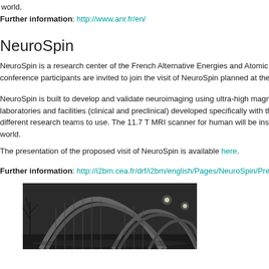world.
Further information: http://www.anr.fr/en/
NeuroSpin
NeuroSpin is a research center of the French Alternative Energies and Atomic E... conference participants are invited to join the visit of NeuroSpin planned at the end o...
NeuroSpin is built to develop and validate neuroimaging using ultra-high magnetic f... laboratories and facilities (clinical and preclinical) developed specifically with the... different research teams to use. The 11.7 T MRI scanner for human will be installed... world.
The presentation of the proposed visit of NeuroSpin is available here.
Further information: http://i2bm.cea.fr/drf/i2bm/english/Pages/NeuroSpin/Presentat...
[Figure (photo): Black and white architectural photo of the NeuroSpin building with curved roof structures at night]